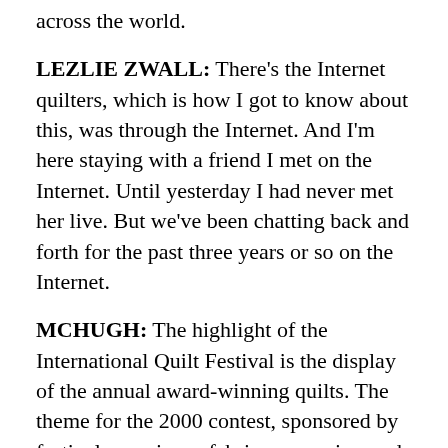across the world.
LEZLIE ZWALL: There’s the Internet quilters, which is how I got to know about this, was through the Internet. And I’m here staying with a friend I met on the Internet. Until yesterday I had never met her live. But we’ve been chatting back and forth for the past three years or so on the Internet.
MCHUGH: The highlight of the International Quilt Festival is the display of the annual award-winning quilts. The theme for the 2000 contest, sponsored by festival organizers, fabric companies, and sewing machine manufacturers was “Quilts-A World Of Beauty.” Hollis Chatlain, of North Carolina, won the Fairfield Master Award for Contemporary Artistry with her quilt titled “School-It’s Never To Late To Learn.” The 47”x63” quilt, which looks more like a painting than a